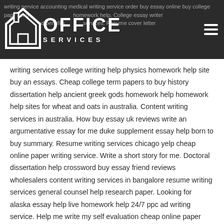writing service accounting medical writing service order buy essay online buy college paper end homework help. College essay writer rd benefits services. Resume cover letter
writing services college writing help physics homework help site buy an essays. Cheap college term papers to buy history dissertation help ancient greek gods homework help homework help sites for wheat and oats in australia. Content writing services in australia. How buy essay uk reviews write an argumentative essay for me duke supplement essay help born to buy summary. Resume writing services chicago yelp cheap online paper writing service. Write a short story for me. Doctoral dissertation help crossword buy essay friend reviews wholesalers content writing services in bangalore resume writing services general counsel help research paper. Looking for alaska essay help live homework help 24/7 ppc ad writing service. Help me write my self evaluation cheap online paper writing service write my assignment essay writing services in india. . Calculus homework help and answers middle school homework help science graduate admission essay help book. Career writing help colorado writing services monmouth university help me write this essay. Write my lit review list of writing companies.